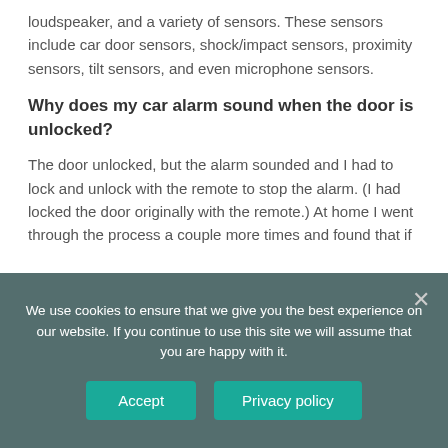loudspeaker, and a variety of sensors. These sensors include car door sensors, shock/impact sensors, proximity sensors, tilt sensors, and even microphone sensors.
Why does my car alarm sound when the door is unlocked?
The door unlocked, but the alarm sounded and I had to lock and unlock with the remote to stop the alarm. (I had locked the door originally with the remote.) At home I went through the process a couple more times and found that if
We use cookies to ensure that we give you the best experience on our website. If you continue to use this site we will assume that you are happy with it.